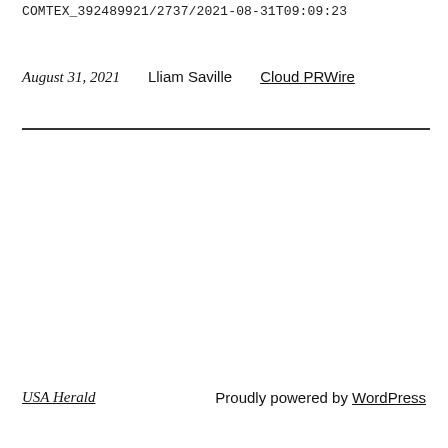COMTEX_392489921/2737/2021-08-31T09:09:23
August 31, 2021   Lliam Saville   Cloud PRWire
USA Herald   Proudly powered by WordPress